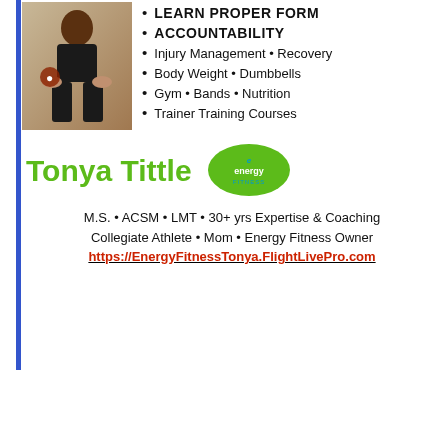[Figure (photo): Woman in athletic wear holding a ball]
LEARN PROPER FORM
ACCOUNTABILITY
Injury Management • Recovery
Body Weight • Dumbbells
Gym • Bands • Nutrition
Trainer Training Courses
Tonya Tittle
[Figure (logo): Energy Fitness green oval logo]
M.S. • ACSM • LMT • 30+ yrs Expertise & Coaching
Collegiate Athlete • Mom • Energy Fitness Owner
https://EnergyFitnessTonya.FlightLivePro.com